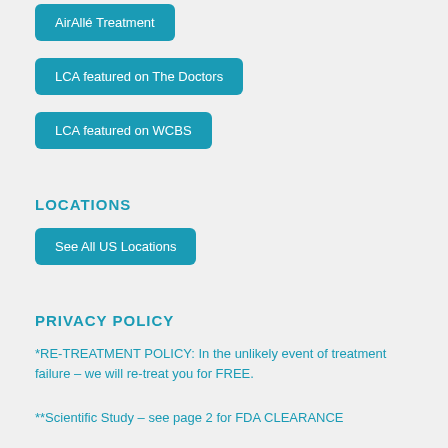AirAllé Treatment
LCA featured on The Doctors
LCA featured on WCBS
LOCATIONS
See All US Locations
PRIVACY POLICY
*RE-TREATMENT POLICY: In the unlikely event of treatment failure – we will re-treat you for FREE.
**Scientific Study – see page 2 for FDA CLEARANCE